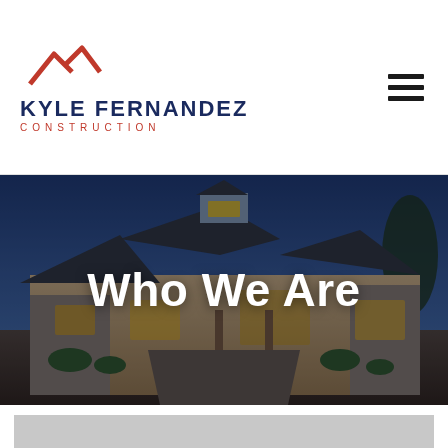[Figure (logo): Kyle Fernandez Construction logo with red roofline/mountain SVG mark above company name in navy blue and red text]
[Figure (photo): Exterior dusk photo of a large custom-built home with stone, siding, and metal roof, used as hero banner background]
Who We Are
[Figure (other): Gray bar / section divider at bottom of page]